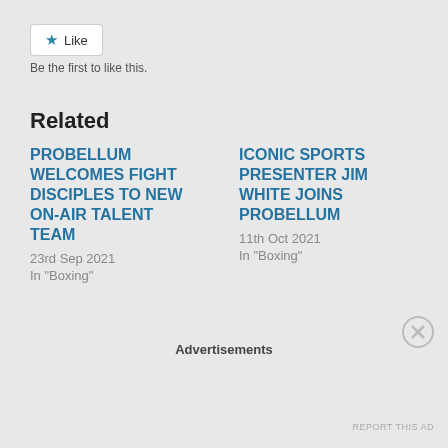Like
Be the first to like this.
Related
PROBELLUM WELCOMES FIGHT DISCIPLES TO NEW ON-AIR TALENT TEAM
23rd Sep 2021
In "Boxing"
ICONIC SPORTS PRESENTER JIM WHITE JOINS PROBELLUM
11th Oct 2021
In "Boxing"
Advertisements